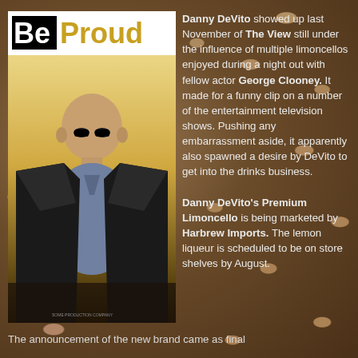[Figure (photo): Movie poster styled image with 'BeProud' title text (Be in black box, Proud in gold) and a man wearing sunglasses and a leather jacket on a golden gradient background]
Danny DeVito showed up last November of The View still under the influence of multiple limoncellos enjoyed during a night out with fellow actor George Clooney. It made for a funny clip on a number of the entertainment television shows. Pushing any embarrassment aside, it apparently also spawned a desire by DeVito to get into the drinks business. Danny DeVito's Premium Limoncello is being marketed by Harbrew Imports. The lemon liqueur is scheduled to be on store shelves by August.
The announcement of the new brand came as final